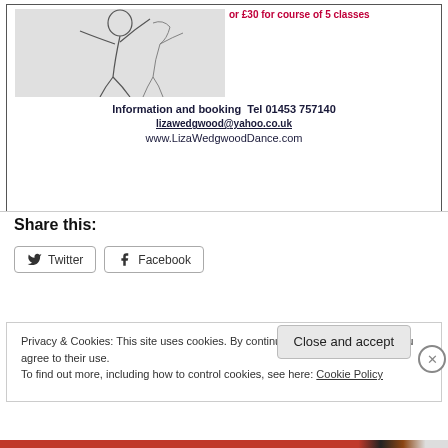[Figure (illustration): Sketch/line drawing of a dancing figure, partially visible at top of page]
or £30 for course of 5 classes
Information and booking  Tel 01453 757140
lizawedgwood@yahoo.co.uk
www.LizaWedgwoodDance.com
Share this:
Twitter
Facebook
Privacy & Cookies: This site uses cookies. By continuing to use this website, you agree to their use.
To find out more, including how to control cookies, see here: Cookie Policy
Close and accept